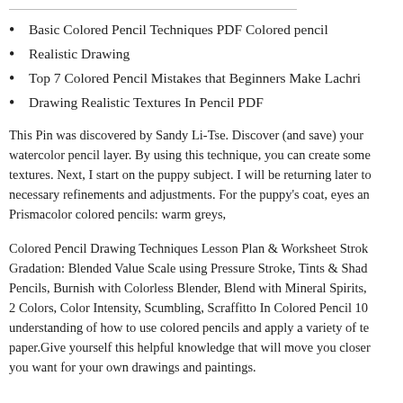Basic Colored Pencil Techniques PDF Colored pencil
Realistic Drawing
Top 7 Colored Pencil Mistakes that Beginners Make Lachri
Drawing Realistic Textures In Pencil PDF
This Pin was discovered by Sandy Li-Tse. Discover (and save) your watercolor pencil layer. By using this technique, you can create some textures. Next, I start on the puppy subject. I will be returning later to necessary refinements and adjustments. For the puppy's coat, eyes and Prismacolor colored pencils: warm greys,
Colored Pencil Drawing Techniques Lesson Plan & Worksheet Stroke Gradation: Blended Value Scale using Pressure Stroke, Tints & Shad Pencils, Burnish with Colorless Blender, Blend with Mineral Spirits, 2 Colors, Color Intensity, Scumbling, Scraffitto In Colored Pencil 10 understanding of how to use colored pencils and apply a variety of te paper.Give yourself this helpful knowledge that will move you closer you want for your own drawings and paintings.